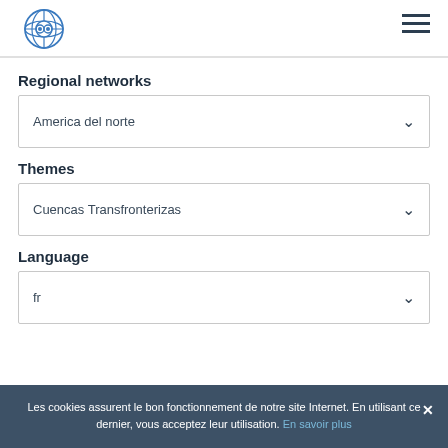Logo and navigation header
Regional networks
America del norte
Themes
Cuencas Transfronterizas
Language
fr
Les cookies assurent le bon fonctionnement de notre site Internet. En utilisant ce dernier, vous acceptez leur utilisation. En savoir plus